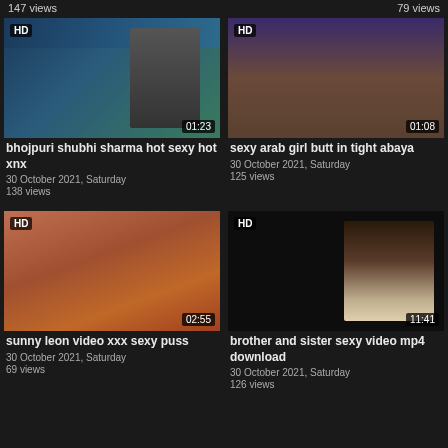147 views
79 views
[Figure (screenshot): Video thumbnail with HD badge, duration 01:23, title: bhojpuri shubhi sharma hot sexy hot xnx]
bhojpuri shubhi sharma hot sexy hot xnx
30 October 2021, Saturday
138 views
[Figure (screenshot): Video thumbnail with HD badge, duration 01:08, title: sexy arab girl butt in tight abaya]
sexy arab girl butt in tight abaya
30 October 2021, Saturday
125 views
[Figure (screenshot): Video thumbnail with HD badge, duration 02:55, title: sunny leon video xxx sexy puss]
sunny leon video xxx sexy puss
30 October 2021, Saturday
69 views
[Figure (screenshot): Video thumbnail with HD badge, duration 11:41, title: brother and sister sexy video mp4 download]
brother and sister sexy video mp4 download
30 October 2021, Saturday
126 views